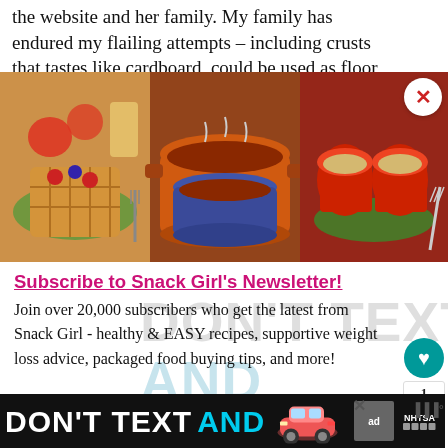the website and her family. My family has endured my flailing attempts – including crusts that tastes like cardboard, could be used as floor tiles, and are just plain disgusting.
[Figure (photo): Three food photos side by side: waffles with berries, a bowl of chili, and stuffed peppers]
Subscribe to Snack Girl's Newsletter!
Join over 20,000 subscribers who get the latest from Snack Girl - healthy & EASY recipes, supportive weight loss advice, packaged food buying tips, and more!
enter your email address
[Figure (infographic): DON'T TEXT AND DRIVE advertisement banner at bottom with red car icon and NHTSA logo]